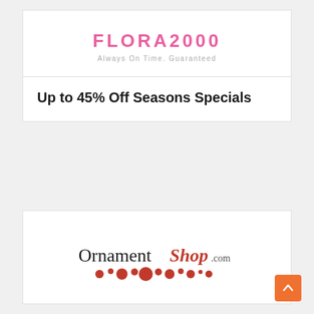[Figure (logo): Flora2000 logo with tagline 'Always On Time. Guaranteed']
Up to 45% Off Seasons Specials
[Figure (logo): OrnamentShop.com logo with red ornament balls decoration]